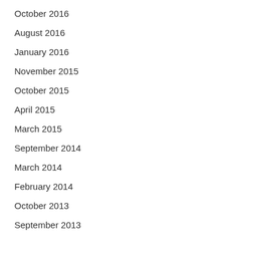October 2016
August 2016
January 2016
November 2015
October 2015
April 2015
March 2015
September 2014
March 2014
February 2014
October 2013
September 2013